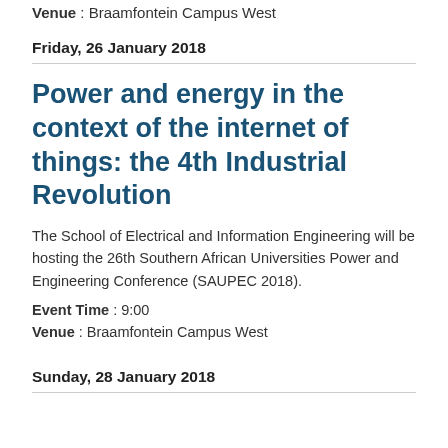Venue : Braamfontein Campus West
Friday, 26 January 2018
Power and energy in the context of the internet of things: the 4th Industrial Revolution
The School of Electrical and Information Engineering will be hosting the 26th Southern African Universities Power and Engineering Conference (SAUPEC 2018).
Event Time : 9:00
Venue : Braamfontein Campus West
Sunday, 28 January 2018